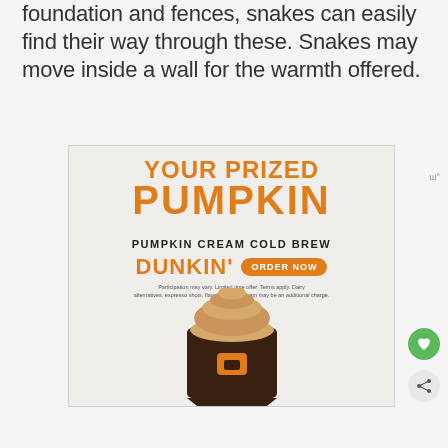foundation and fences, snakes can easily find their way through these. Snakes may move inside a wall for the warmth offered.
[Figure (photo): Dunkin' Pumpkin Cream Cold Brew advertisement showing a large iced coffee drink with cream topping. Text reads 'YOUR PRIZED PUMPKIN', 'PUMPKIN CREAM COLD BREW', 'DUNKIN'' with an 'ORDER NOW' button and disclaimer text.]